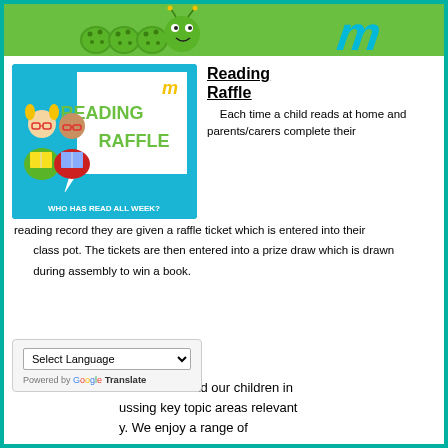[Figure (illustration): School website header with green background, caterpillar/logo illustration and stylized blue 'M' logo on the right]
[Figure (illustration): Reading Raffle promotional image: teal/green background with two cartoon children reading books, green speech bubble with 'READING RAFFLE' text, and 'WHO HAS READ ALL WEEK?' caption at bottom. Small yellow M logo at top right of image area.]
Reading Raffle
Each time a child reads at home and parents/carers complete their reading record they are given a raffle ticket which is entered into their class pot. The tickets are then entered into a prize draw which is drawn during assembly to win a book.
[Figure (screenshot): Google Translate widget showing 'Select Language' dropdown and 'Powered by Google Translate' text]
ers of staff lead our children in ussing key topic areas relevant y. We enjoy a range of